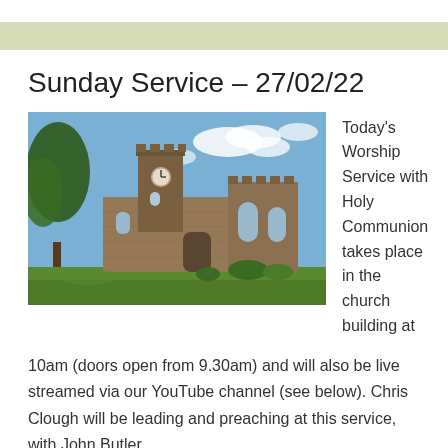Sunday Service – 27/02/22
[Figure (photo): Exterior photograph of a stone church building with a clock tower, Gothic windows, and surrounding green lawn and trees under a blue sky.]
Today's Worship Service with Holy Communion takes place in the church building at 10am (doors open from 9.30am) and will also be live streamed via our YouTube channel (see below). Chris Clough will be leading and preaching at this service, with John Butler